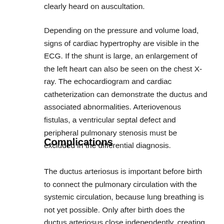clearly heard on auscultation.
Depending on the pressure and volume load, signs of cardiac hypertrophy are visible in the ECG. If the shunt is large, an enlargement of the left heart can also be seen on the chest X-ray. The echocardiogram and cardiac catheterization can demonstrate the ductus and associated abnormalities. Arteriovenous fistulas, a ventricular septal defect and peripheral pulmonary stenosis must be excluded in the differential diagnosis.
Complications
The ductus arteriosus is important before birth to connect the pulmonary circulation with the systemic circulation, because lung breathing is not yet possible. Only after birth does the ductus arteriosus close independently, creating a separate pulmonary circuit that is separate from the systemic circuit. Complications that can occur due to an extended ductus arteriosus are...